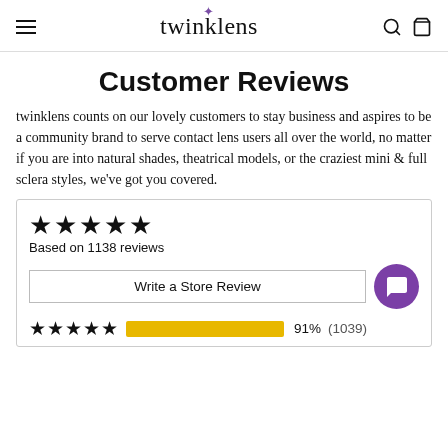twinklens
Customer Reviews
twinklens counts on our lovely customers to stay business and aspires to be a community brand to serve contact lens users all over the world, no matter if you are into natural shades, theatrical models, or the craziest mini & full sclera styles, we've got you covered.
Based on 1138 reviews
Write a Store Review
91% (1039)